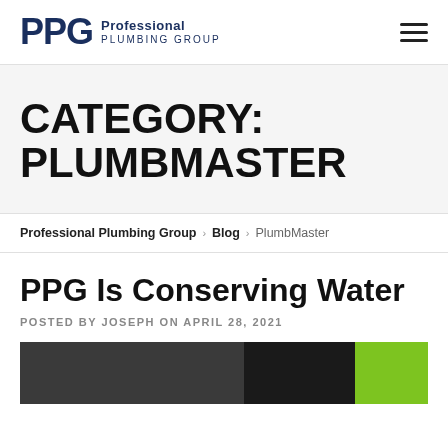PPG Professional Plumbing Group
CATEGORY: PLUMBMASTER
Professional Plumbing Group > Blog > PlumbMaster
PPG Is Conserving Water
POSTED BY JOSEPH ON APRIL 28, 2021
[Figure (photo): Article thumbnail image showing a dark nature/plumbing scene with a green accent strip on the right]